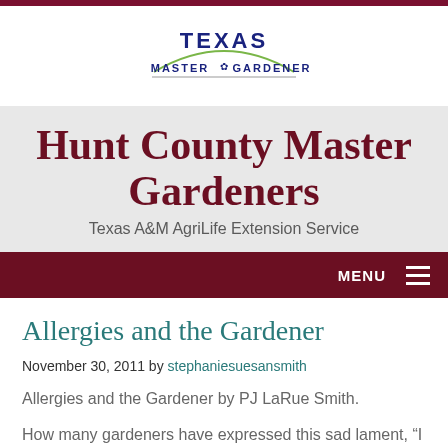[Figure (logo): Texas Master Gardener logo with arch design and leaf icon]
Hunt County Master Gardeners
Texas A&M AgriLife Extension Service
MENU
Allergies and the Gardener
November 30, 2011 by stephaniesuesansmith
Allergies and the Gardener by PJ LaRue Smith.
How many gardeners have expressed this sad lament, “I love the outdoors, but it sure doesn’t love me back!”